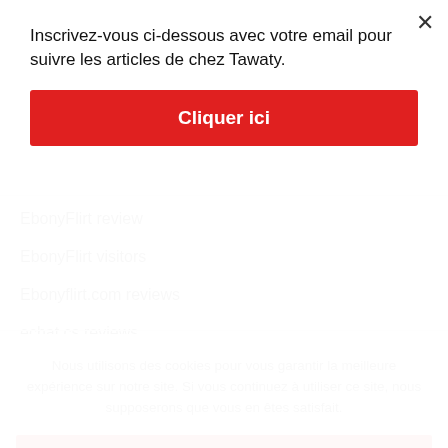Inscrivez-vous ci-dessous avec votre email pour suivre les articles de chez Tawaty.
Cliquer ici
EbonyFlirt review
EbonyFlirt visitors
Ebonyflirt.com reviews
echat cs reviews
Nous utilisons des cookies pour vous garantir la meilleure expérience sur notre site. Si vous continuez à utiliser ce site, nous supposerons que vous en êtes satisfait.
D'ACCORD